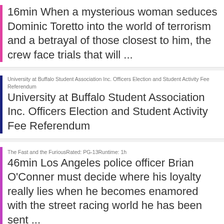16min When a mysterious woman seduces Dominic Toretto into the world of terrorism and a betrayal of those closest to him, the crew face trials that will ...
University at Buffalo Student Association Inc. Officers Election and Student Activity Fee ReferendumUniversity at Buffalo Student Association Inc. Officers Election and Student Activity Fee Referendum
The Fast and the FuriousRated: PG-13Runtime: 1h 46min Los Angeles police officer Brian O'Conner must decide where his loyalty really lies when he becomes enamored with the street racing world he has been sent ...
The Fate of the FuriousRated: PG-13Runtime: 16min When a mysterious woman seduces Dominic Toretto into the world of terrorism and a betrayal of those closest to